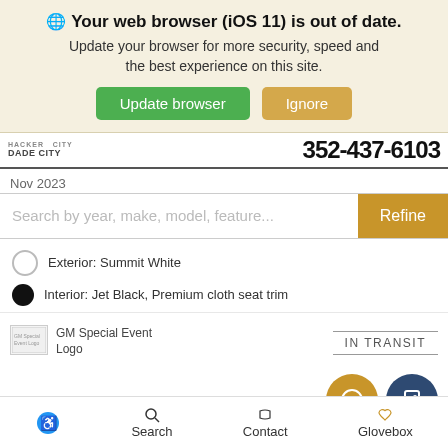🌐 Your web browser (iOS 11) is out of date. Update your browser for more security, speed and the best experience on this site.
Update browser | Ignore
DADE CITY  352-437-6103
Nov 2023
Search by year, make, model, feature...  Refine
Exterior: Summit White
Interior: Jet Black, Premium cloth seat trim
[Figure (logo): GM Special Event Logo placeholder image]
IN TRANSIT
Details
Accessibility  Search  Contact  Glovebox